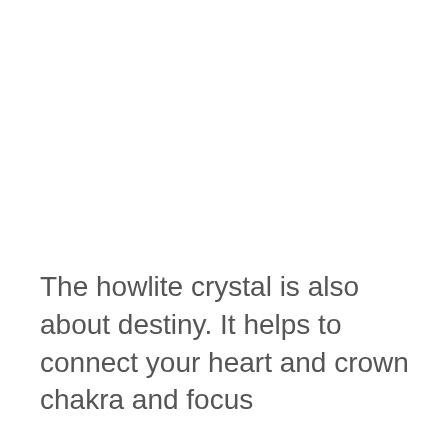The howlite crystal is also about destiny. It helps to connect your heart and crown chakra and focus